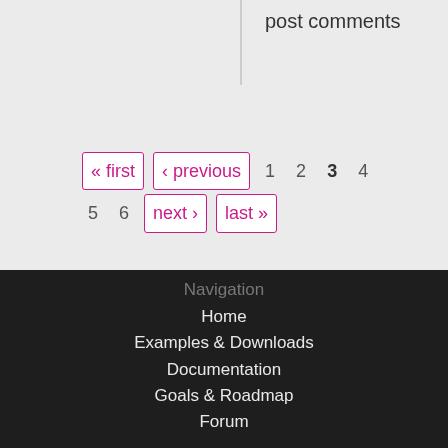post comments
« first  ‹ previous  1  2  3  4  5  6  next ›  last »
Navigation
Home
Examples & Downloads
Documentation
Goals & Roadmap
Forum